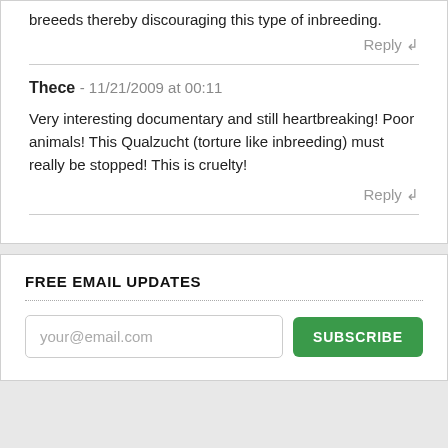breeeds thereby discouraging this type of inbreeding.
Reply ↲
Thece - 11/21/2009 at 00:11
Very interesting documentary and still heartbreaking! Poor animals! This Qualzucht (torture like inbreeding) must really be stopped! This is cruelty!
Reply ↲
FREE EMAIL UPDATES
your@email.com
SUBSCRIBE